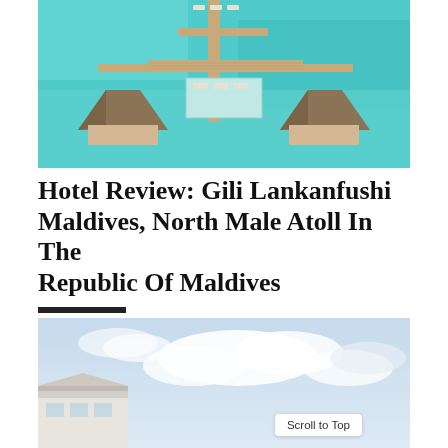[Figure (photo): Aerial view of an overwater bungalow resort in the Maldives with thatched roofs, wooden docks, and turquoise lagoon water]
Hotel Review: Gili Lankanfushi Maldives, North Male Atoll In The Republic Of Maldives
BY LLM REPORTERS
[Figure (photo): Partial view of a resort building with white walls and a blue cloudy sky, with 'Scroll to Top' button overlay]